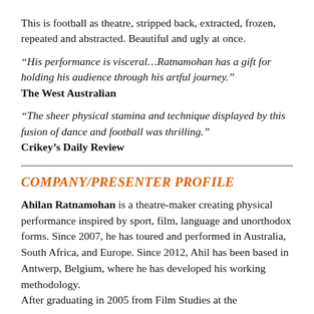This is football as theatre, stripped back, extracted, frozen, repeated and abstracted. Beautiful and ugly at once.
“His performance is visceral…Ratnamohan has a gift for holding his audience through his artful journey.”
The West Australian
“The sheer physical stamina and technique displayed by this fusion of dance and football was thrilling.”
Crikey’s Daily Review
COMPANY/PRESENTER PROFILE
Ahilan Ratnamohan is a theatre-maker creating physical performance inspired by sport, film, language and unorthodox forms. Since 2007, he has toured and performed in Australia, South Africa, and Europe. Since 2012, Ahil has been based in Antwerp, Belgium, where he has developed his working methodology.
After graduating in 2005 from Film Studies at the